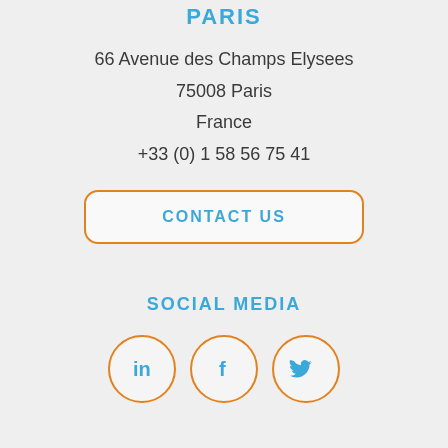PARIS
66 Avenue des Champs Elysees
75008 Paris
France
+33 (0) 1 58 56 75 41
CONTACT US
SOCIAL MEDIA
[Figure (infographic): Three circular orange-bordered social media icons: LinkedIn (in), Facebook (f), Twitter (bird)]